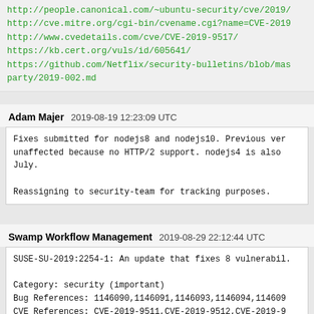http://people.canonical.com/~ubuntu-security/cve/2019/
http://cve.mitre.org/cgi-bin/cvename.cgi?name=CVE-2019
http://www.cvedetails.com/cve/CVE-2019-9517/
https://kb.cert.org/vuls/id/605641/
https://github.com/Netflix/security-bulletins/blob/mas
party/2019-002.md
Adam Majer   2019-08-19 12:23:09 UTC
Fixes submitted for nodejs8 and nodejs10. Previous ver
unaffected because no HTTP/2 support. nodejs4 is also 
July.

Reassigning to security-team for tracking purposes.
Swamp Workflow Management   2019-08-29 22:12:44 UTC
SUSE-SU-2019:2254-1: An update that fixes 8 vulnerabil.

Category: security (important)
Bug References: 1146090,1146091,1146093,1146094,114609
CVE References: CVE-2019-9511,CVE-2019-9512,CVE-2019-9
9515,CVE-2019-9516,CVE-2019-9517,CVE-2019-9518
Sources used:
SUSE Linux Enterprise Module for Web Scripting 12 (sr